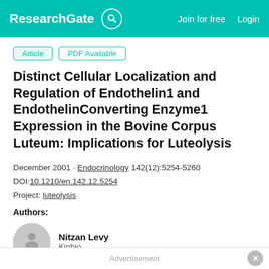ResearchGate  Join for free  Login
Article  PDF Available
Distinct Cellular Localization and Regulation of Endothelin1 and EndothelinConverting Enzyme1 Expression in the Bovine Corpus Luteum: Implications for Luteolysis
December 2001 · Endocrinology 142(12):5254-5260
DOI:10.1210/en.142.12.5254
Project: luteolysis
Authors:
Nitzan Levy
Kinbio
Advertisement